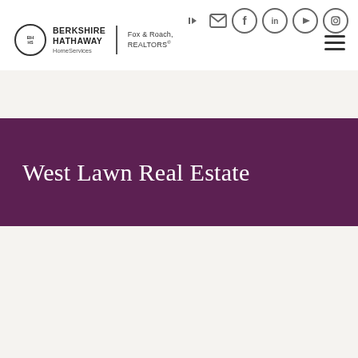[Figure (logo): Berkshire Hathaway HomeServices Fox & Roach, REALTORS logo with circular emblem]
[Figure (infographic): Social media and navigation icons: login, mail, Facebook, LinkedIn, YouTube, Instagram]
West Lawn Real Estate
[Figure (photo): House exterior photo with brick facade, white columns, dormer windows, and tree in foreground with MOST POPULAR badge]
MOST POPULAR